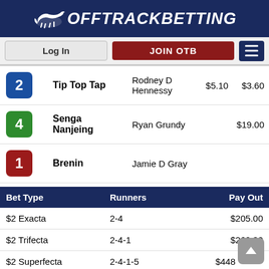OffTrackBetting
| # | Horse | Jockey |  |  |
| --- | --- | --- | --- | --- |
| 2 | Tip Top Tap | Rodney D Hennessy | $5.10 | $3.60 |
| 4 | Senga Nanjeing | Ryan Grundy |  | $19.00 |
| 1 | Brenin | Jamie D Gray |  |  |
| Bet Type | Runners | Pay Out |
| --- | --- | --- |
| $2 Exacta | 2-4 | $205.00 |
| $2 Trifecta | 2-4-1 | $262.30 |
| $2 Superfecta | 2-4-1-5 | $448 |